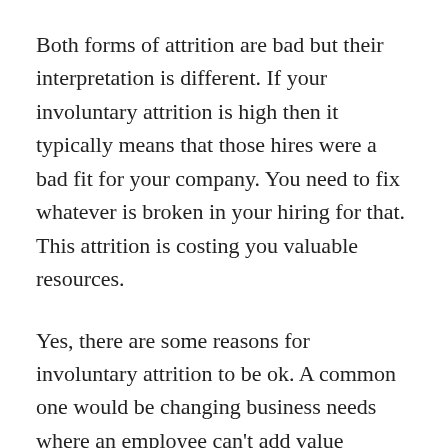Both forms of attrition are bad but their interpretation is different. If your involuntary attrition is high then it typically means that those hires were a bad fit for your company. You need to fix whatever is broken in your hiring for that. This attrition is costing you valuable resources.
Yes, there are some reasons for involuntary attrition to be ok. A common one would be changing business needs where an employee can't add value anymore and can't be repositioned within the business despite best efforts.
Voluntary attrition is also bad. This means that you're spending resources hiring and training people and they choose to leave causing those resources to